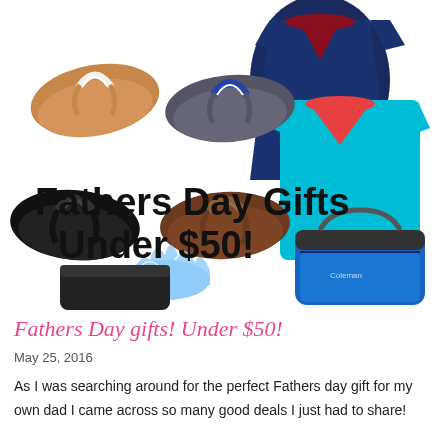[Figure (photo): Collage of Father's Day gift products including flip flops (tan/white, dark gray/blue, black, brown), two v-neck t-shirts (navy and turquoise), a water splash, a dark seat/item, and a blue duffel bag. Bold black text overlay reads 'Fathers Day Gifts Under $50!']
Fathers Day gifts! Under $50!
May 25, 2016
As I was searching around for the perfect Fathers day gift for my own dad I came across so many good deals I just had to share!